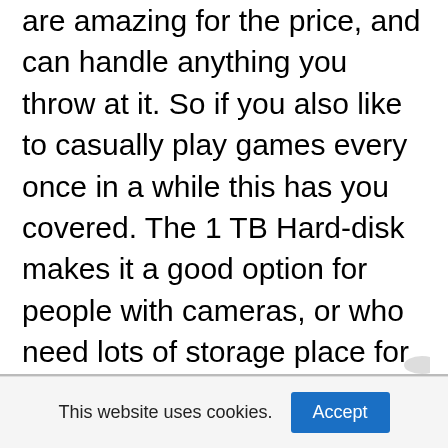are amazing for the price, and can handle anything you throw at it. So if you also like to casually play games every once in a while this has you covered. The 1 TB Hard-disk makes it a good option for people with cameras, or who need lots of storage place for big school projects.
The 13 hour Battery on this thing means you don't have to always bring your charger with you everywhere, just charge it at home and it's ready to go for a good full day of work. Another thing that's cool is they managed to keep the DVD Player on it too!
This website uses cookies.